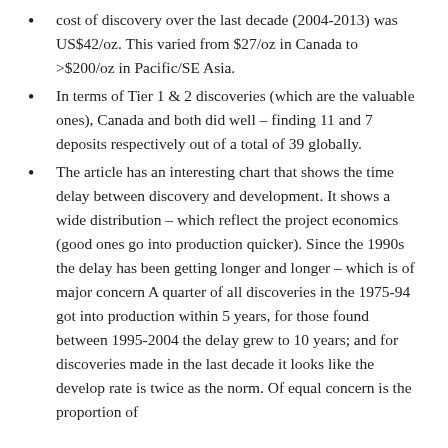cost of discovery over the last decade (2004-2013) was US$42/oz. This varied from $27/oz in Canada to >$200/oz in Pacific/SE Asia.
In terms of Tier 1 & 2 discoveries (which are the valuable ones), Canada and both did well – finding 11 and 7 deposits respectively out of a total of 39 globally.
The article has an interesting chart that shows the time delay between discovery and development. It shows a wide distribution – which reflect the project economics (good ones go into production quicker). Since the 1990s the delay has been getting longer and longer – which is of major concern A quarter of all discoveries in the 1975-94 got into production within 5 years, for those found between 1995-2004 the delay grew to 10 years; and for discoveries made in the last decade it looks like the develop rate is twice as the norm. Of equal concern is the proportion of